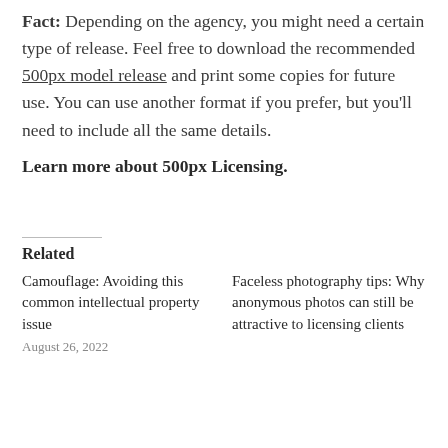Fact: Depending on the agency, you might need a certain type of release. Feel free to download the recommended 500px model release and print some copies for future use. You can use another format if you prefer, but you'll need to include all the same details.
Learn more about 500px Licensing.
Related
Camouflage: Avoiding this common intellectual property issue
August 26, 2022
Faceless photography tips: Why anonymous photos can still be attractive to licensing clients